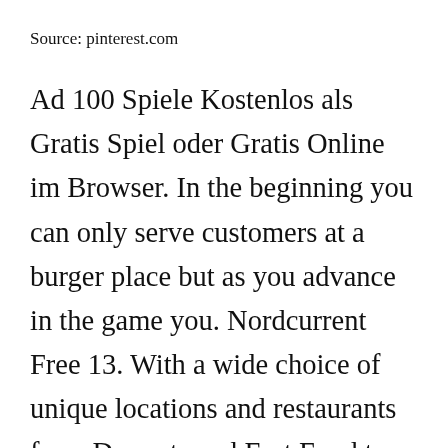Source: pinterest.com
Ad 100 Spiele Kostenlos als Gratis Spiel oder Gratis Online im Browser. In the beginning you can only serve customers at a burger place but as you advance in the game you. Nordcurrent Free 13. With a wide choice of unique locations and restaurants from Desserts and Fast Food to Indian and Chinese cuisines you will be able to practice your skills in a variety of settings and cooking. Download A× 1240 MB Versions.